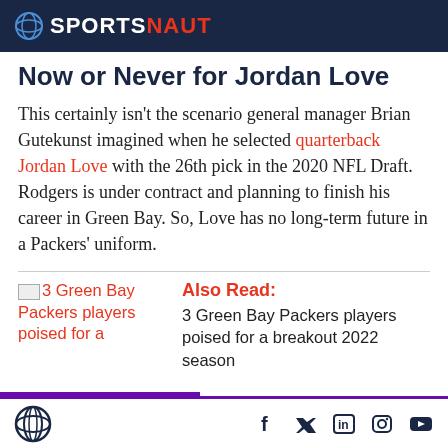SPORTSNAUT
Now or Never for Jordan Love
This certainly isn't the scenario general manager Brian Gutekunst imagined when he selected quarterback Jordan Love with the 26th pick in the 2020 NFL Draft. Rodgers is under contract and planning to finish his career in Green Bay. So, Love has no long-term future in a Packers' uniform.
[Figure (illustration): Thumbnail image for '3 Green Bay Packers players poised for a breakout 2022 season']
Also Read: 3 Green Bay Packers players poised for a breakout 2022 season
Sportsnaut logo and social media icons: Facebook, Twitter, LinkedIn, Instagram, YouTube